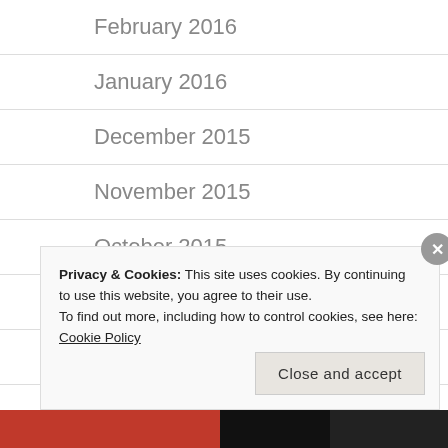February 2016
January 2016
December 2015
November 2015
October 2015
September 2015
August 2015
META
Privacy & Cookies: This site uses cookies. By continuing to use this website, you agree to their use.
To find out more, including how to control cookies, see here: Cookie Policy